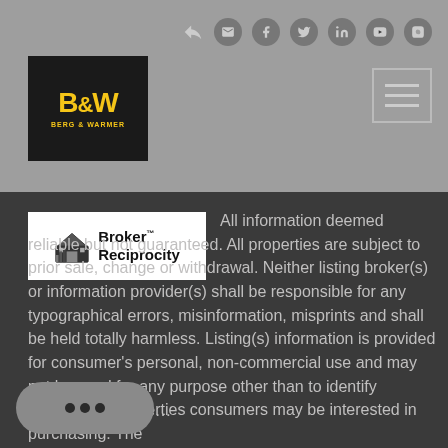[Figure (logo): B&W (Berg & Warmer) real estate logo in black box with yellow text]
[Figure (logo): Broker Reciprocity logo with house icon]
All information deemed reliable but not guaranteed. All properties are subject to prior sale, change or withdrawal. Neither listing broker(s) or information provider(s) shall be responsible for any typographical errors, misinformation, misprints and shall be held totally harmless. Listing(s) information is provided for consumer's personal, non-commercial use and may not be used for any purpose other than to identify prospective properties consumers may be interested in purchasing. The listing Show More...